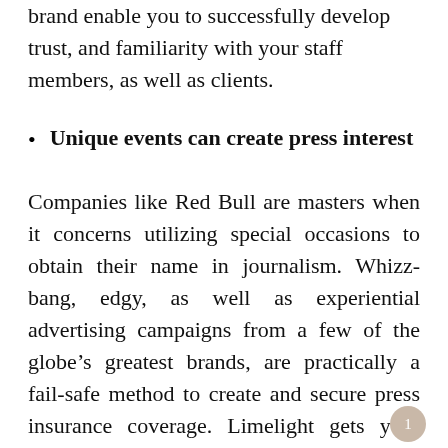brand enable you to successfully develop trust, and familiarity with your staff members, as well as clients.
Unique events can create press interest
Companies like Red Bull are masters when it concerns utilizing special occasions to obtain their name in journalism. Whizz-bang, edgy, as well as experiential advertising campaigns from a few of the globe’s greatest brands, are practically a fail-safe method to create and secure press insurance coverage. Limelight gets your name by ensuring people are aware of who you are, as well as what your brand name stands for.
1